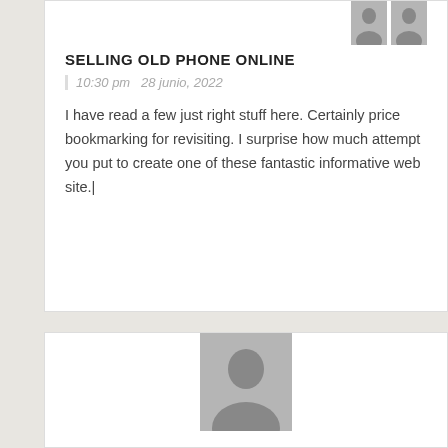SELLING OLD PHONE ONLINE
10:30 pm   28 junio, 2022
I have read a few just right stuff here. Certainly price bookmarking for revisiting. I surprise how much attempt you put to create one of these fantastic informative web site.|
[Figure (illustration): Generic user avatar placeholder image (grey silhouette on grey background)]
SELL YOUR OLD PHONE
1:24 am
29 junio, 2022